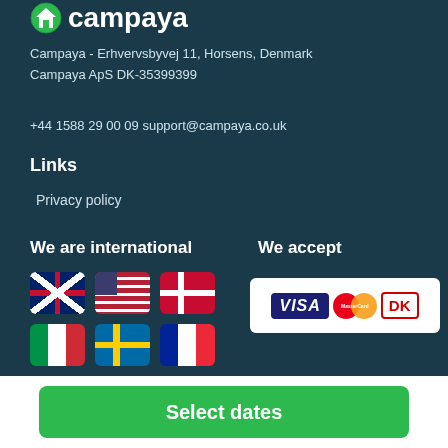[Figure (logo): Campaya logo with shield/home icon and bold white text]
Campaya - Erhvervsbyvej 11, Horsens, Denmark
Campaya ApS DK-35399399
+44 1588 29 00 09 support@campaya.co.uk
Links
Privacy policy
We are international
[Figure (illustration): Grid of country flags: UK, US, Denmark, Italy, Sweden, France, Germany, Spain, Netherlands, Norway]
We accept
[Figure (illustration): Payment logos: VISA, MasterCard, Dankort on white background]
Select dates